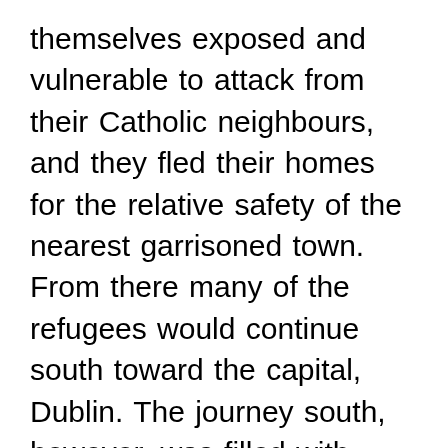themselves exposed and vulnerable to attack from their Catholic neighbours, and they fled their homes for the relative safety of the nearest garrisoned town. From there many of the refugees would continue south toward the capital, Dublin. The journey south, however, was filled with danger as the insurgents would frequently attack the defenceless convoys that moved slowly along the